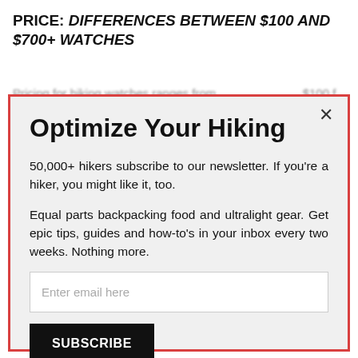PRICE: DIFFERENCES BETWEEN $100 AND $700+ WATCHES
Pricing for hiking watches ranges from $100 f…
Optimize Your Hiking
50,000+ hikers subscribe to our newsletter. If you're a hiker, you might like it, too.
Equal parts backpacking food and ultralight gear. Get epic tips, guides and how-to's in your inbox every two weeks. Nothing more.
Enter email here
SUBSCRIBE